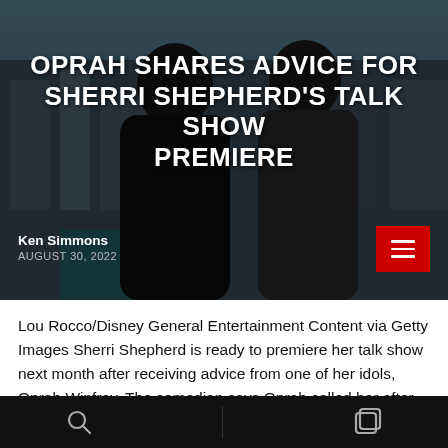[Figure (photo): Two women posing together against a city backdrop; headline overlay reads 'Oprah Shares Advice for Sherri Shepherd's Talk Show Premiere']
OPRAH SHARES ADVICE FOR SHERRI SHEPHERD'S TALK SHOW PREMIERE
Ken Simmons
AUGUST 30, 2022
Lou Rocco/Disney General Entertainment Content via Getty Images Sherri Shepherd is ready to premiere her talk show next month after receiving advice from one of her idols, Oprah Winfrey. The comedian says Oprah called her after she sent her texts requesting tutoring from the 19-time Emmy award winner. “I took 15 pages